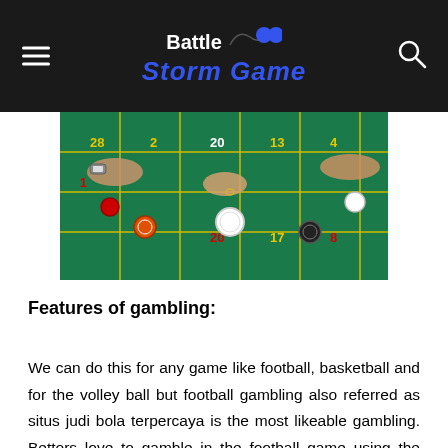Battle Storm Game
[Figure (photo): Overhead view of a roulette/casino table with green felt, chips, and multiple hands placing bets]
Features of gambling:
We can do this for any game like football, basketball and for the volley ball but football gambling also referred as situs judi bola terpercaya is the most likeable gambling. Bettors love to gamble in the football game using the relevant information from this platform. Initially user needs to download the special software from this page to bet on every day and this they can bet on the international events too. This site provides more than 500 live events on each week which